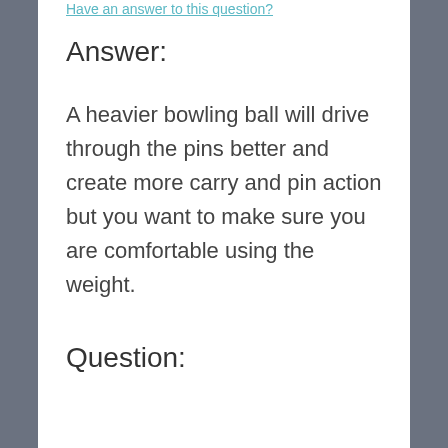Have an answer to this question?
Answer:
A heavier bowling ball will drive through the pins better and create more carry and pin action but you want to make sure you are comfortable using the weight.
5/19/2021 - By Bowling.Com Staff
Question: